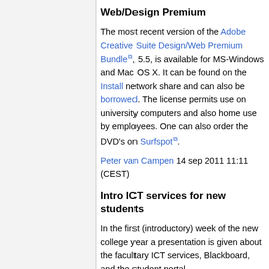Web/Design Premium
The most recent version of the Adobe Creative Suite Design/Web Premium Bundle, 5.5, is available for MS-Windows and Mac OS X. It can be found on the Install network share and can also be borrowed. The license permits use on university computers and also home use by employees. One can also order the DVD's on Surfspot.
Peter van Campen 14 sep 2011 11:11 (CEST)
Intro ICT services for new students
In the first (introductory) week of the new college year a presentation is given about the facultary ICT services, Blackboard, and the student portal.